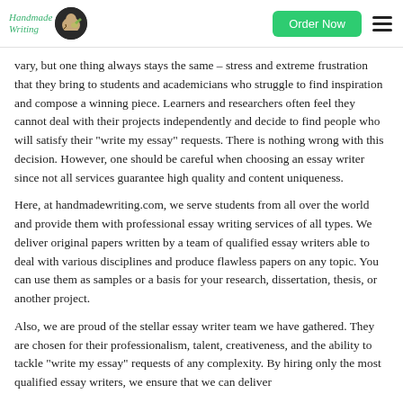Handmade Writing | Order Now
vary, but one thing always stays the same – stress and extreme frustration that they bring to students and academicians who struggle to find inspiration and compose a winning piece. Learners and researchers often feel they cannot deal with their projects independently and decide to find people who will satisfy their “write my essay” requests. There is nothing wrong with this decision. However, one should be careful when choosing an essay writer since not all services guarantee high quality and content uniqueness.
Here, at handmadewriting.com, we serve students from all over the world and provide them with professional essay writing services of all types. We deliver original papers written by a team of qualified essay writers able to deal with various disciplines and produce flawless papers on any topic. You can use them as samples or a basis for your research, dissertation, thesis, or another project.
Also, we are proud of the stellar essay writer team we have gathered. They are chosen for their professionalism, talent, creativeness, and the ability to tackle “write my essay” requests of any complexity. By hiring only the most qualified essay writers, we ensure that we can deliver